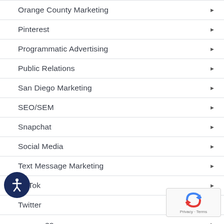Orange County Marketing
Pinterest
Programmatic Advertising
Public Relations
San Diego Marketing
SEO/SEM
Snapchat
Social Media
Text Message Marketing
TikTok
Twitter
Video
Webinars
[Figure (illustration): Accessibility icon: dark blue circle with white person/accessibility symbol]
[Figure (illustration): Google reCAPTCHA badge with blue/red arrow logo and Privacy/Terms text]